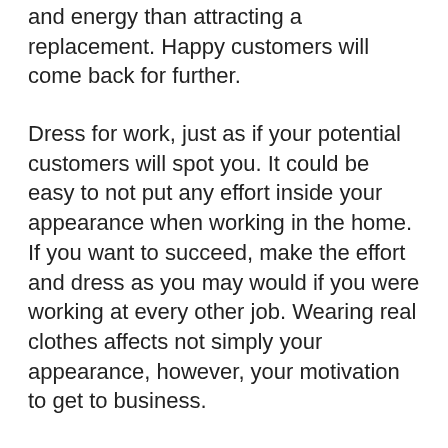and energy than attracting a replacement. Happy customers will come back for further.
Dress for work, just as if your potential customers will spot you. It could be easy to not put any effort inside your appearance when working in the home. If you want to succeed, make the effort and dress as you may would if you were working at every other job. Wearing real clothes affects not simply your appearance, however, your motivation to get to business.
Create a home-based business while you're still employed. It may take awhile to make any money, so usually do not stop trying your entire day job. Keeping your work will ensure that you have enough money to pay for your debts and take care of sudden expenses as they occur http://www.youtube.com/watch?v=6nQbxb9MHzE It is